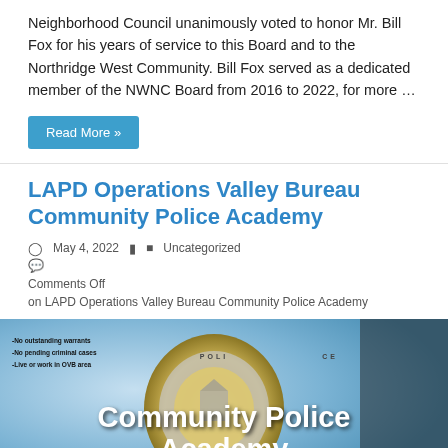Neighborhood Council unanimously voted to honor Mr. Bill Fox for his years of service to this Board and to the Northridge West Community. Bill Fox served as a dedicated member of the NWNC Board from 2016 to 2022, for more …
Read More »
LAPD Operations Valley Bureau Community Police Academy
May 4, 2022    Uncategorized
Comments Off on LAPD Operations Valley Bureau Community Police Academy
[Figure (photo): Community Police Academy promotional image with LAPD police badge and text overlay reading 'Community Police Academy' on a blue background. Small text on left lists requirements: -No outstanding warrants, -No pending criminal cases, -Live or work in OVB area]